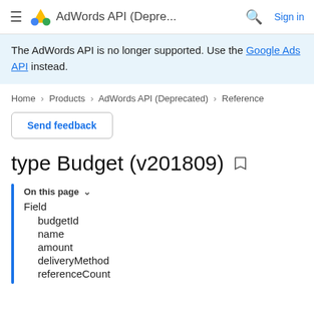AdWords API (Depre... Sign in
The AdWords API is no longer supported. Use the Google Ads API instead.
Home > Products > AdWords API (Deprecated) > Reference
Send feedback
type Budget (v201809)
On this page
Field
budgetId
name
amount
deliveryMethod
referenceCount